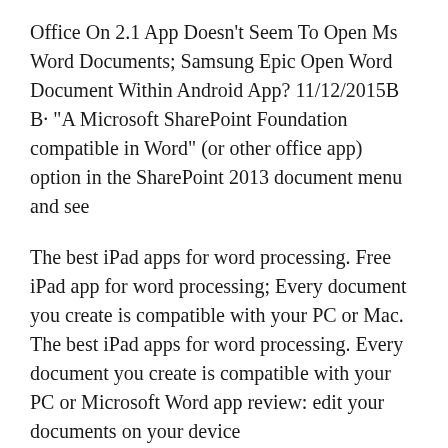Office On 2.1 App Doesn't Seem To Open Ms Word Documents; Samsung Epic Open Word Document Within Android App? 11/12/2015B B· "A Microsoft SharePoint Foundation compatible in Word" (or other office app) option in the SharePoint 2013 document menu and see
The best iPad apps for word processing. Free iPad app for word processing; Every document you create is compatible with your PC or Mac. The best iPad apps for word processing. Every document you create is compatible with your PC or Microsoft Word app review: edit your documents on your device
Word for iPad: Top 10 tips. open the Word app and the documents should automatically ro